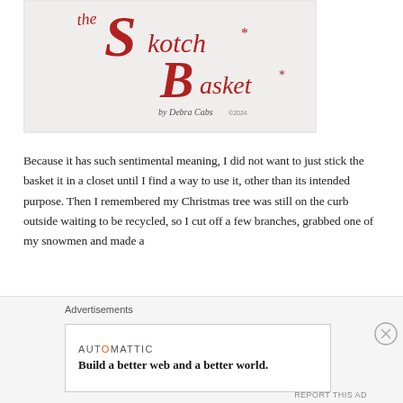[Figure (illustration): Handwritten/illustrated title reading 'the Skotch Basket*' in red cursive lettering on a light gray/white background, with a small signature below reading 'by Debra Cabs' and additional small text]
Because it has such sentimental meaning, I did not want to just stick the basket it in a closet until I find a way to use it, other than its intended purpose. Then I remembered my Christmas tree was still on the curb outside waiting to be recycled, so I cut off a few branches, grabbed one of my snowmen and made a
Advertisements
AUTOMATTIC
Build a better web and a better world.